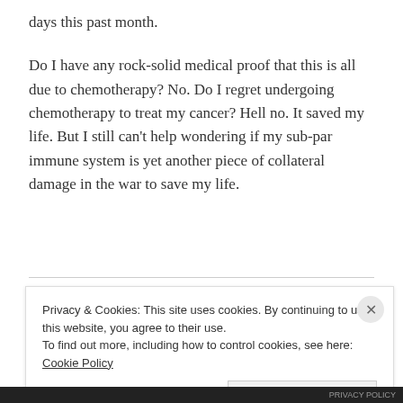days this past month.
Do I have any rock-solid medical proof that this is all due to chemotherapy? No. Do I regret undergoing chemotherapy to treat my cancer? Hell no. It saved my life. But I still can't help wondering if my sub-par immune system is yet another piece of collateral damage in the war to save my life.
Privacy & Cookies: This site uses cookies. By continuing to use this website, you agree to their use.
To find out more, including how to control cookies, see here: Cookie Policy
Close and accept